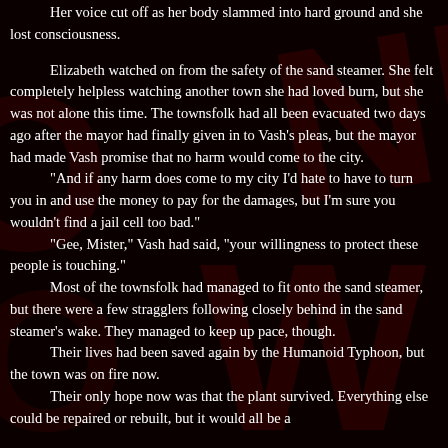Her voice cut off as her body slammed into hard ground and she lost consciousness.

Elizabeth watched on from the safety of the sand steamer. She felt completely helpless watching another town she had loved burn, but she was not alone this time. The townsfolk had all been evacuated two days ago after the mayor had finally given in to Vash's pleas, but the mayor had made Vash promise that no harm would come to the city.
"And if any harm does come to my city I'd hate to have to turn you in and use the money to pay for the damages, but I'm sure you wouldn't find a jail cell too bad."
"Gee, Mister," Vash had said, "your willingness to protect these people is touching."
Most of the townsfolk had managed to fit onto the sand steamer, but there were a few stragglers following closely behind in the sand steamer's wake. They managed to keep up pace, though.
Their lives had been saved again by the Humanoid Typhoon, but the town was on fire now.
Their only hope now was that the plant survived. Everything else could be repaired or rebuilt, but it would all be a